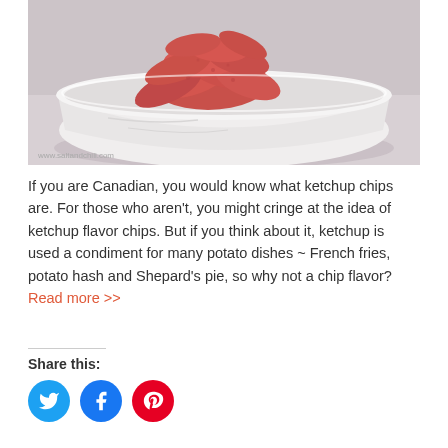[Figure (photo): A white ceramic bowl filled with pink/red ketchup chips, photographed from a slightly elevated angle. Watermark reads www.saltandchili.com at bottom left.]
If you are Canadian, you would know what ketchup chips are. For those who aren't, you might cringe at the idea of ketchup flavor chips. But if you think about it, ketchup is used a condiment for many potato dishes ~ French fries, potato hash and Shepard's pie, so why not a chip flavor? Read more >>
Share this: